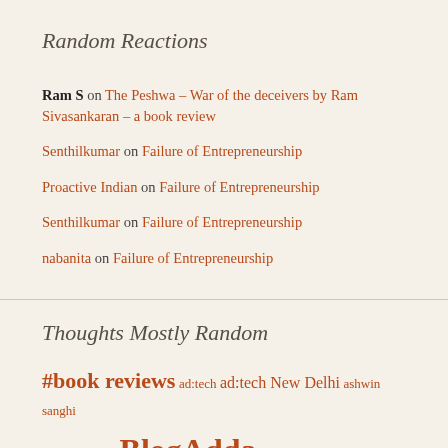Random Reactions
Ram S on The Peshwa – War of the deceivers by Ram Sivasankaran – a book review
Senthilkumar on Failure of Entrepreneurship
Proactive Indian on Failure of Entrepreneurship
Senthilkumar on Failure of Entrepreneurship
nabanita on Failure of Entrepreneurship
Thoughts Mostly Random
#book reviews ad:tech ad:tech New Delhi ashwin sanghi Australian GP BlogAdda blogadda book review program blog adda book review program blogadda reviews Blogadda Sponsored Reviews blogging Book Read